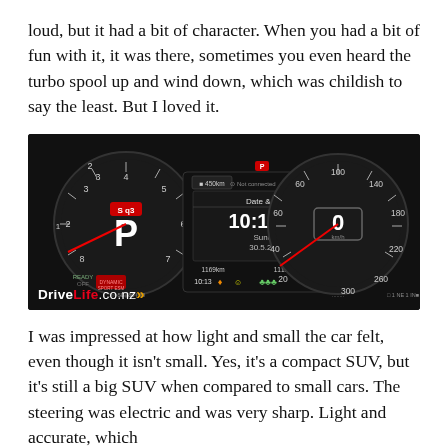loud, but it had a bit of character. When you had a bit of fun with it, it was there, sometimes you even heard the turbo spool up and wind down, which was childish to say the least. But I loved it.
[Figure (photo): Audi digital instrument cluster showing tachometer on left with 'P' (Park), a central display showing 'Date & time - 10:13 AM Sunday 30.5.2021', and a speedometer on right reading 0 km/h. DriveLife.co.nz watermark in bottom left corner.]
I was impressed at how light and small the car felt, even though it isn't small. Yes, it's a compact SUV, but it's still a big SUV when compared to small cars. The steering was electric and was very sharp. Light and accurate, which